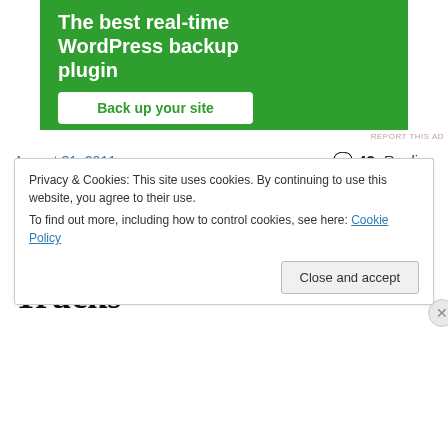[Figure (screenshot): Green advertisement banner for WordPress backup plugin with 'Back up your site' button]
REPORT THIS AD
August 31, 2011
42 Replies
Why Dalmations Ride On Fire Trucks
Privacy & Cookies: This site uses cookies. By continuing to use this website, you agree to their use.
To find out more, including how to control cookies, see here: Cookie Policy
Close and accept